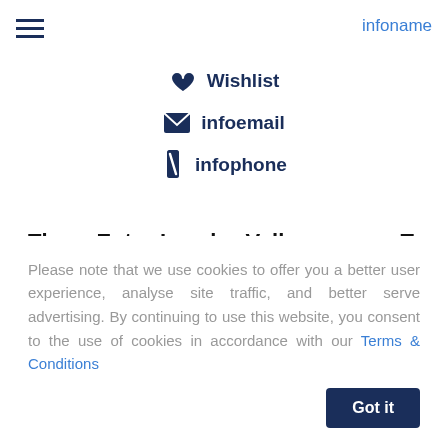infoname
[Figure (illustration): Heart icon for Wishlist, envelope icon for infoemail, phone icon for infophone]
The Entry-Level Volkswagen T-Roc Build, Weight and Dimensions
Please note that we use cookies to offer you a better user experience, analyse site traffic, and better serve advertising. By continuing to use this website, you consent to the use of cookies in accordance with our Terms & Conditions